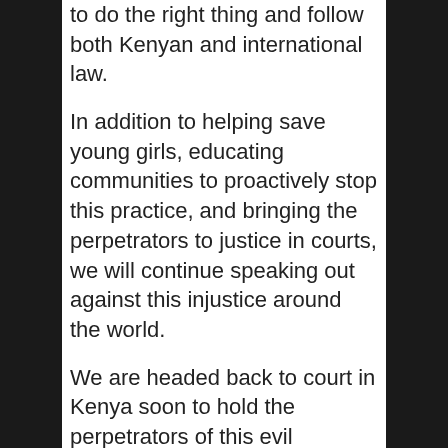to do the right thing and follow both Kenyan and international law.
In addition to helping save young girls, educating communities to proactively stop this practice, and bringing the perpetrators to justice in courts, we will continue speaking out against this injustice around the world.
We are headed back to court in Kenya soon to hold the perpetrators of this evil accountable. Our attorneys in Kenya have appeared in court multiple times fighting delays and obstruction tactics. We will not relent until justice is served.
Stand with us.  Stand with young girls in Kenya and demand an end to these barbaric atrocities. Sign out petition (below and) at